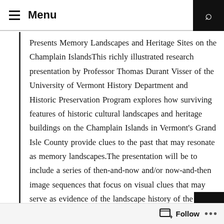≡ Menu
Presents Memory Landscapes and Heritage Sites on the Champlain IslandsThis richly illustrated research presentation by Professor Thomas Durant Visser of the University of Vermont History Department and Historic Preservation Program explores how surviving features of historic cultural landscapes and heritage buildings on the Champlain Islands in Vermont's Grand Isle County provide clues to the past that may resonate as memory landscapes.The presentation will be to include a series of then-and-now and/or now-and-then image sequences that focus on visual clues that may serve as evidence of the landscape history of the Islands. To broaden perspectives, Professor Visser will draw on images and comments from
Follow ...